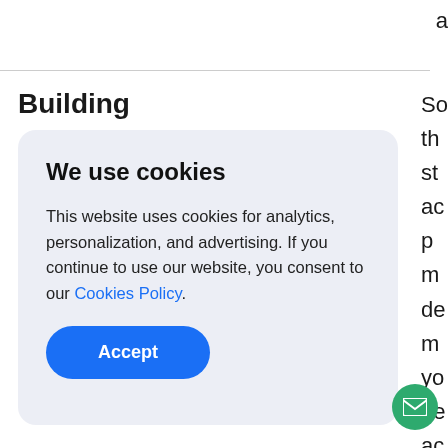a
Building
[Figure (screenshot): Cookie consent modal with title 'We use cookies', body text about analytics/personalization/advertising, a Cookies Policy link, and an Accept button. Overlaid on a webpage.]
So th st ac p m de m yo ge ac fu